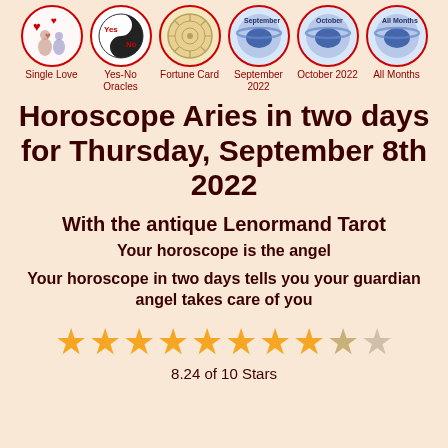[Figure (infographic): Navigation icon bar with 6 circular icons: Single Love, Yes-No Oracles, Fortune Card, September 2022, October 2022, All Months]
Horoscope Aries in two days for Thursday, September 8th 2022
With the antique Lenormand Tarot
Your horoscope is the angel
Your horoscope in two days tells you your guardian angel takes care of you
[Figure (infographic): Star rating: 8.24 of 10 Stars, showing approximately 8.24 gold/filled stars out of 10]
8.24 of 10 Stars